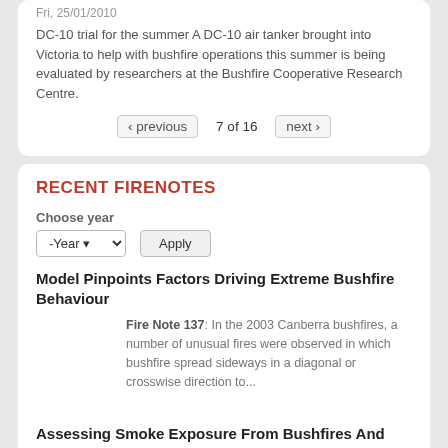Fri, 25/01/2010
DC-10 trial for the summer A DC-10 air tanker brought into Victoria to help with bushfire operations this summer is being evaluated by researchers at the Bushfire Cooperative Research Centre.
‹ previous  7 of 16  next ›
RECENT FIRENOTES
Choose year
Model Pinpoints Factors Driving Extreme Bushfire Behaviour
Fire Note 137: In the 2003 Canberra bushfires, a number of unusual fires were observed in which bushfire spread sideways in a diagonal or crosswise direction to...
Assessing Smoke Exposure From Bushfires And Prescribed Burns
Fire Note 136: This Fire Note reports in more detail